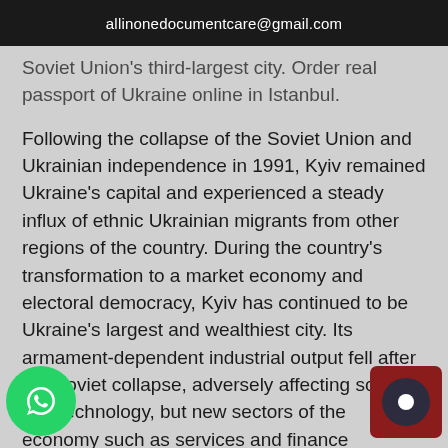allinonedocumentcare@gmail.com
Soviet Union's third-largest city. Order real passport of Ukraine online in Istanbul.
Following the collapse of the Soviet Union and Ukrainian independence in 1991, Kyiv remained Ukraine's capital and experienced a steady influx of ethnic Ukrainian migrants from other regions of the country. During the country's transformation to a market economy and electoral democracy, Kyiv has continued to be Ukraine's largest and wealthiest city. Its armament-dependent industrial output fell after the Soviet collapse, adversely affecting science and technology, but new sectors of the economy such as services and finance facilitated Kyiv's growth in salaries and investment, as well as